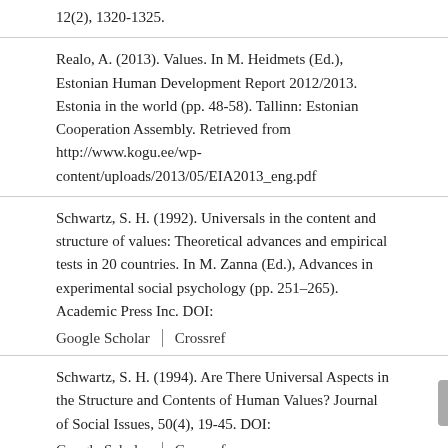12(2), 1320-1325.
Realo, A. (2013). Values. In M. Heidmets (Ed.), Estonian Human Development Report 2012/2013. Estonia in the world (pp. 48-58). Tallinn: Estonian Cooperation Assembly. Retrieved from http://www.kogu.ee/wp-content/uploads/2013/05/EIA2013_eng.pdf
Schwartz, S. H. (1992). Universals in the content and structure of values: Theoretical advances and empirical tests in 20 countries. In M. Zanna (Ed.), Advances in experimental social psychology (pp. 251–265). Academic Press Inc. DOI:
Google Scholar | Crossref
Schwartz, S. H. (1994). Are There Universal Aspects in the Structure and Contents of Human Values? Journal of Social Issues, 50(4), 19-45. DOI:
Google Scholar | Crossref
Schwartz, S. H. (2012). An Overview of the Schwartz Theory